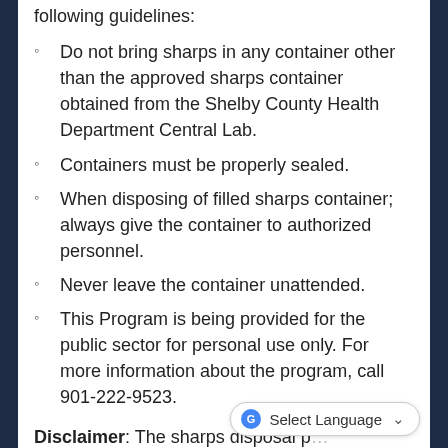following guidelines:
Do not bring sharps in any container other than the approved sharps container obtained from the Shelby County Health Department Central Lab.
Containers must be properly sealed.
When disposing of filled sharps container, always give the container to authorized personnel.
Never leave the container unattended.
This Program is being provided for the public sector for personal use only. For more information about the program, call 901-222-9523.
Disclaimer: The sharps disposal m… for residents of Shelby County. At…Health professionals and businesses are regulated under